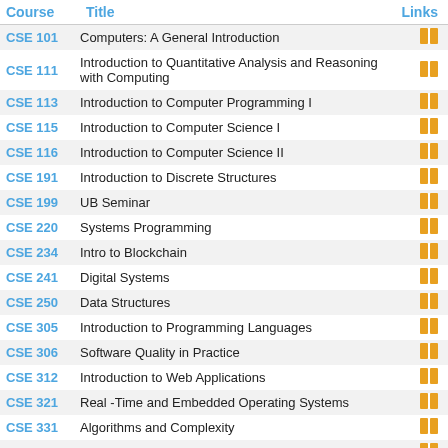| Course | Title | Links |
| --- | --- | --- |
| CSE 101 | Computers: A General Introduction | 🔖 |
| CSE 111 | Introduction to Quantitative Analysis and Reasoning with Computing | 🔖 |
| CSE 113 | Introduction to Computer Programming I | 🔖 |
| CSE 115 | Introduction to Computer Science I | 🔖 |
| CSE 116 | Introduction to Computer Science II | 🔖 |
| CSE 191 | Introduction to Discrete Structures | 🔖 |
| CSE 199 | UB Seminar | 🔖 |
| CSE 220 | Systems Programming | 🔖 |
| CSE 234 | Intro to Blockchain | 🔖 |
| CSE 241 | Digital Systems | 🔖 |
| CSE 250 | Data Structures | 🔖 |
| CSE 305 | Introduction to Programming Languages | 🔖 |
| CSE 306 | Software Quality in Practice | 🔖 |
| CSE 312 | Introduction to Web Applications | 🔖 |
| CSE 321 | Real -Time and Embedded Operating Systems | 🔖 |
| CSE 331 | Algorithms and Complexity | 🔖 |
| CSE 341 | Computer Organization | 🔖 |